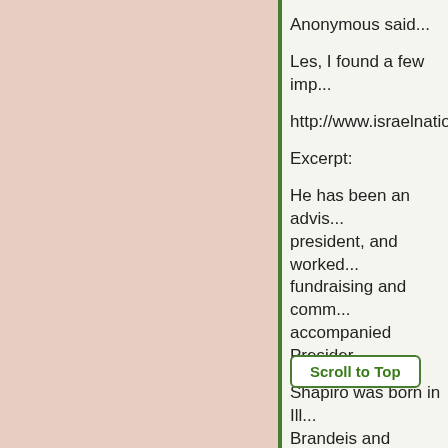Anonymous said...
Les, I found a few imp...
http://www.israelnation...
Excerpt:
He has been an advis... president, and worked... fundraising and comm... accompanied Presider...
Shapiro was born in Ill... Brandeis and Harvard... Eastern Politics.
Scroll to Top
Here is some backgro...